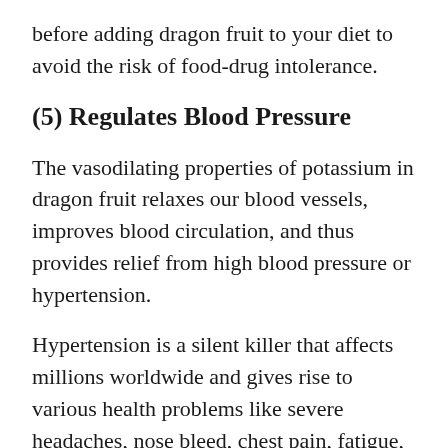before adding dragon fruit to your diet to avoid the risk of food-drug intolerance.
(5) Regulates Blood Pressure
The vasodilating properties of potassium in dragon fruit relaxes our blood vessels, improves blood circulation, and thus provides relief from high blood pressure or hypertension.
Hypertension is a silent killer that affects millions worldwide and gives rise to various health problems like severe headaches, nose bleed, chest pain, fatigue, irregular heartbeat, difficulty in breathing, vision problems, and blood in urine, etc.